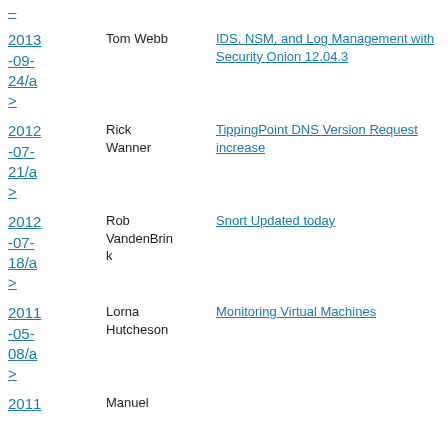2013-09-24/a> | Tom Webb | IDS, NSM, and Log Management with Security Onion 12.04.3
2012-07-21/a> | Rick Wanner | TippingPoint DNS Version Request increase
2012-07-18/a> | Rob VandenBrink | Snort Updated today
2011-05-08/a> | Lorna Hutcheson | Monitoring Virtual Machines
2011 | Manuel